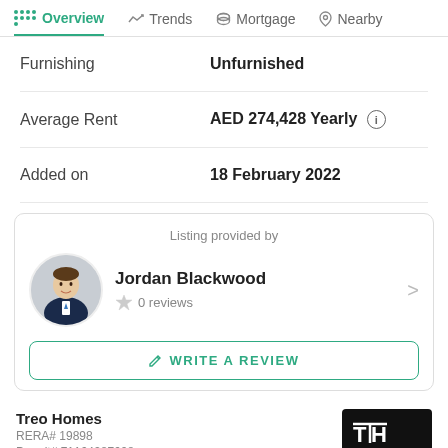Overview  Trends  Mortgage  Nearby
| Field | Value |
| --- | --- |
| Furnishing | Unfurnished |
| Average Rent | AED 274,428 Yearly |
| Added on | 18 February 2022 |
Listing provided by
Jordan Blackwood
0 reviews
WRITE A REVIEW
Treo Homes
RERA# 19898
Permit# 71164287608
View all properties